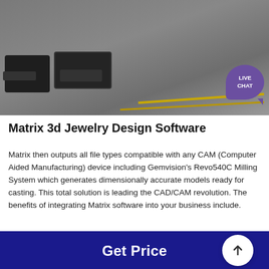[Figure (photo): Industrial casting molds on a workshop floor with yellow guide lines visible]
Matrix 3d Jewelry Design Software
Matrix then outputs all file types compatible with any CAM (Computer Aided Manufacturing) device including Gemvision's Revo540C Milling System which generates dimensionally accurate models ready for casting. This total solution is leading the CAD/CAM revolution. The benefits of integrating Matrix software into your business include.
Get Price
[Figure (photo): Industrial milling or grinding machine in a factory setting]